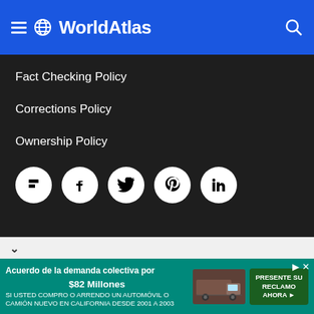WorldAtlas
Fact Checking Policy
Corrections Policy
Ownership Policy
[Figure (infographic): Social media icon buttons: Flipboard, Facebook, Twitter, Pinterest, LinkedIn — white circles on dark background]
[Figure (infographic): Advertisement banner: Acuerdo de la demanda colectiva por $82 Millones — SI USTED COMPRO O ARRENDO UN AUTOMÓVIL O CAMIÓN NUEVO EN CALIFORNIA DESDE 2001 A 2003 — with truck image and PRESENTE SU RECLAMO AHORA button]